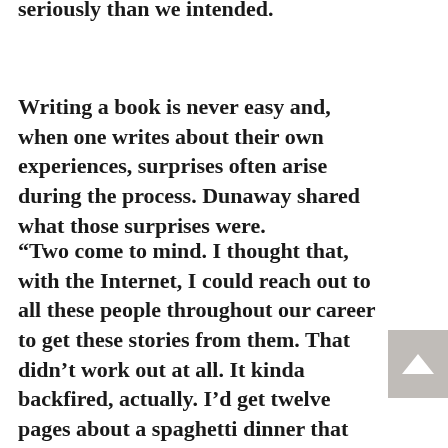seriously than we intended.
Writing a book is never easy and, when one writes about their own experiences, surprises often arise during the process. Dunaway shared what those surprises were.
“Two come to mind. I thought that, with the Internet, I could reach out to all these people throughout our career to get these stories from them. That didn’t work out at all. It kinda backfired, actually. I’d get twelve pages about a spaghetti dinner that somebody made for the band. I said, ‘Uh-oh. I’m going to have to rely entirely on my memory here’. I should have known that in the first place. I thought I could get these enhancements, but it didn’t quite work out. Even with Neal, I couldn’t get anything out of him. I did toward the end, but not early on.